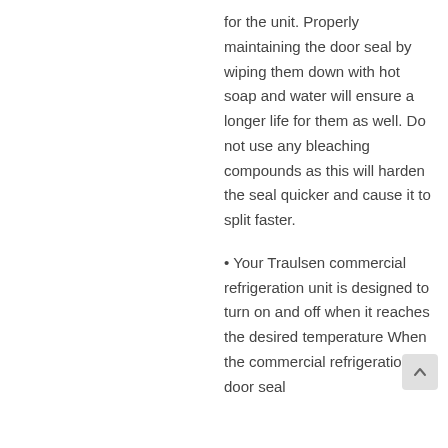for the unit. Properly maintaining the door seal by wiping them down with hot soap and water will ensure a longer life for them as well. Do not use any bleaching compounds as this will harden the seal quicker and cause it to split faster.
• Your Traulsen commercial refrigeration unit is designed to turn on and off when it reaches the desired temperature When the commercial refrigeration door seal